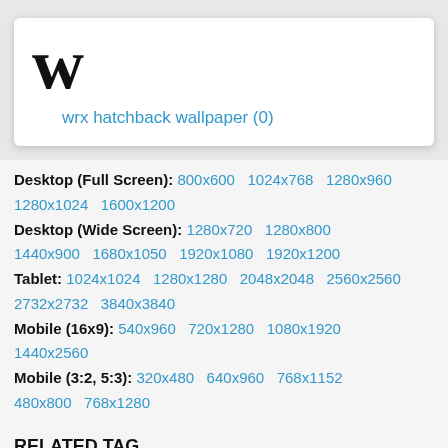W
wrx hatchback wallpaper (0)
Desktop (Full Screen): 800x600  1024x768  1280x960  1280x1024  1600x1200
Desktop (Wide Screen): 1280x720  1280x800  1440x900  1680x1050  1920x1080  1920x1200
Tablet: 1024x1024  1280x1280  2048x2048  2560x2560  2732x2732  3840x3840
Mobile (16x9): 540x960  720x1280  1080x1920  1440x2560
Mobile (3:2, 5:3): 320x480  640x960  768x1152  480x800  768x1280
RELATED TAG
2017 →
Ford →